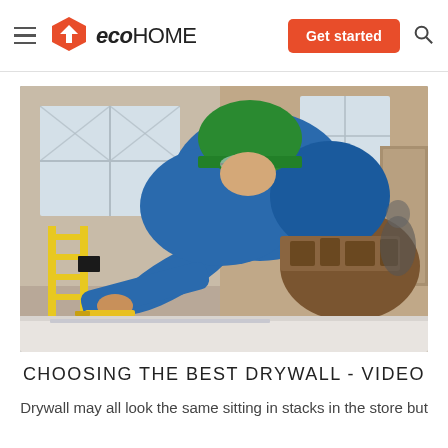eco HOME — Get started
[Figure (photo): A construction worker wearing a green hard hat, blue long-sleeve shirt, safety glasses, and a tool belt leans over a large sheet of drywall, scoring it with a utility knife and a straight edge in a building under construction.]
CHOOSING THE BEST DRYWALL - VIDEO
Drywall may all look the same sitting in stacks in the store but